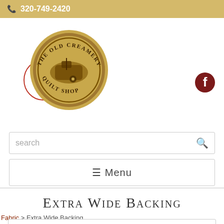320-749-2420
[Figure (logo): The Old Creamery Quilt Shop circular logo with sewing machine illustration, golden/brown color]
[Figure (logo): Facebook icon, dark red/maroon circle with white F]
search
☰ Menu
Extra Wide Backing
Fabric > Extra Wide Backing